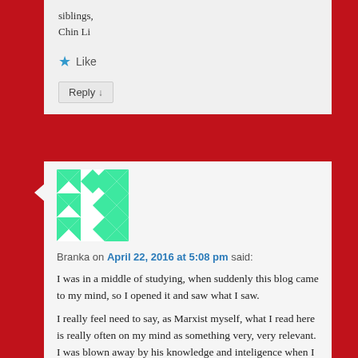siblings,
Chin Li
Like
Reply ↓
[Figure (illustration): Avatar image with green and white diamond/X pattern on white background]
Branka on April 22, 2016 at 5:08 pm said:
I was in a middle of studying, when suddenly this blog came to my mind, so I opened it and saw what I saw.
I really feel need to say, as Marxist myself, what I read here is really often on my mind as something very, very relevant. I was blown away by his knowledge and inteligence when I first saw this site. It came to my mind today, as it comes every